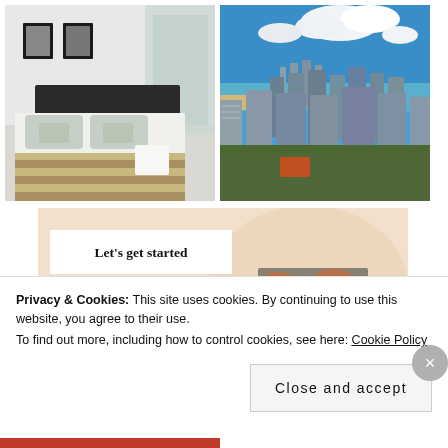[Figure (photo): Hotel bedroom with white bedding, striped bed cover, grey/blue pillows, dark headboard, glass bathroom partition visible in background]
[Figure (photo): Aerial view of a coastal city with high-rise buildings, beach, blue ocean and sky with clouds (Gold Coast Australia)]
[Figure (photo): Person typing on laptop with a banner/overlay text 'Let's get started' on a warm-toned background]
Privacy & Cookies: This site uses cookies. By continuing to use this website, you agree to their use.
To find out more, including how to control cookies, see here: Cookie Policy
Close and accept